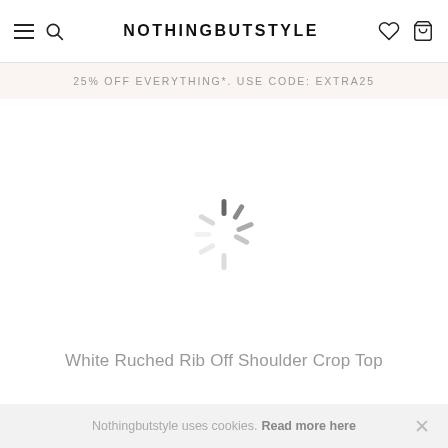NOTHINGBUTSTYLE
25% OFF EVERYTHING*. USE CODE: EXTRA25
[Figure (other): Loading spinner (animated CSS/SVG spinner indicating page content is loading)]
White Ruched Rib Off Shoulder Crop Top
Nothingbutstyle uses cookies. Read more here